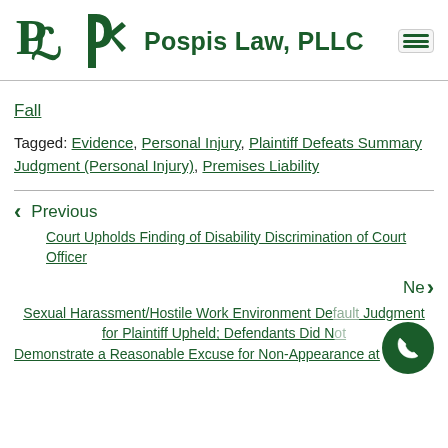Pospis Law, PLLC
Fall
Tagged: Evidence, Personal Injury, Plaintiff Defeats Summary Judgment (Personal Injury), Premises Liability
< Previous
Court Upholds Finding of Disability Discrimination of Court Officer
Next >
Sexual Harassment/Hostile Work Environment Default Judgment for Plaintiff Upheld; Defendants Did Not Demonstrate a Reasonable Excuse for Non-Appearance at